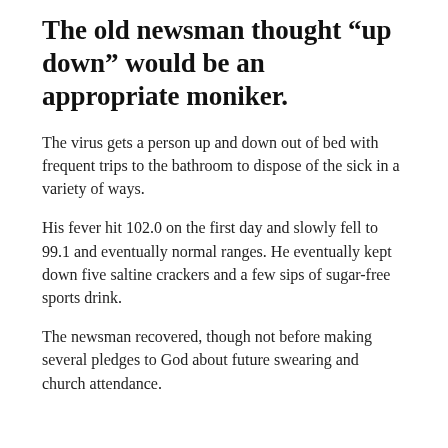The old newsman thought “up down” would be an appropriate moniker.
The virus gets a person up and down out of bed with frequent trips to the bathroom to dispose of the sick in a variety of ways.
His fever hit 102.0 on the first day and slowly fell to 99.1 and eventually normal ranges. He eventually kept down five saltine crackers and a few sips of sugar-free sports drink.
The newsman recovered, though not before making several pledges to God about future swearing and church attendance.